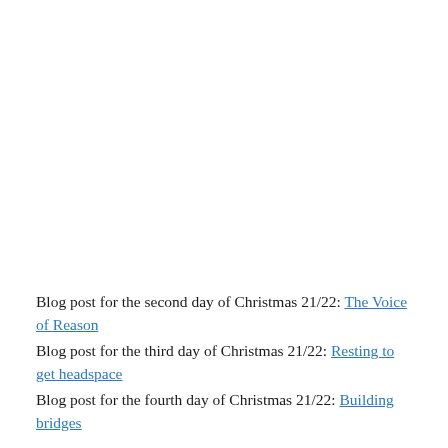Blog post for the second day of Christmas 21/22: The Voice of Reason
Blog post for the third day of Christmas 21/22: Resting to get headspace
Blog post for the fourth day of Christmas 21/22: Building bridges